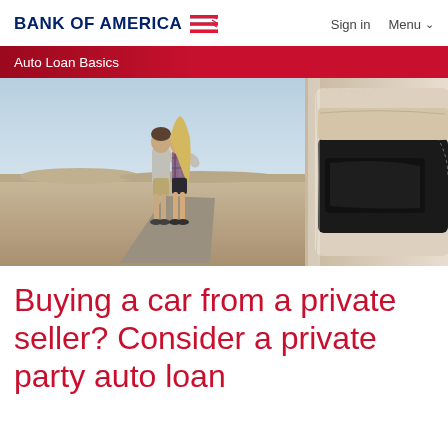BANK OF AMERICA  Sign in  Menu
Auto Loan Basics
[Figure (photo): A couple standing together with arms around each other looking out at a desert landscape, with a car door visible on the right side]
Buying a car from a private seller? Consider a private party auto loan